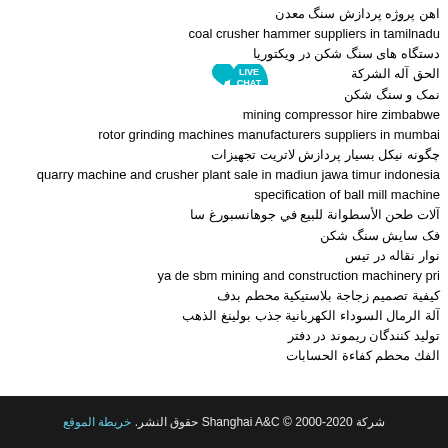اهن پروژه پردازش سنگ معدن
coal crusher hammer suppliers in tamilnadu
دستگاه های سنگ شکن در ویکتوریا
الحق آله الشركة
نمک و سنگ شکن
mining compressor hire zimbabwe
rotor grinding machines manufacturers suppliers in mumbai
چگونه نیکل بسیار پردازش لاتریت تجهیزات
quarry machine and crusher plant sale in madiun jawa timur indonesia
specification of ball mill machine
آلات طحن الأسطوانة للبيع في جوهانسبورغ سا
فک سایش سنگ شکن
نوار نقاله در تیس
ya de sbm mining and construction machinery pri
كيفية تصميم زجاجة بلاستيكية محطم بدف
آلة الرمال السوداء الكهربانية جذب بولينغ الذهب
توليد كنندگان ریموند در دفتر
الفك محطم كفاءة الحسابات
شركة Shanghai A&C © 2000-2020 حقوق النشر. خريطة الموقع